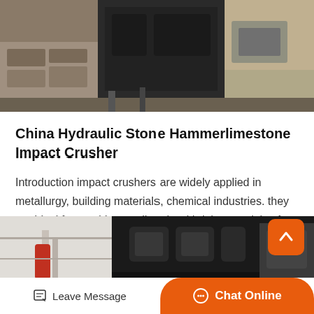[Figure (photo): Industrial crusher machinery at a worksite, showing stone crushing equipment with brick walls and metal components in the background.]
China Hydraulic Stone Hammerlimestone Impact Crusher
Introduction impact crushers are widely applied in metallurgy, building materials, chemical industries. they are ideal for crushing medium hard brittle materials of coarse, secondary and fine…
Get Price  >
[Figure (photo): Close-up of a black industrial crusher machine with square openings, industrial facility in background with pipes and equipment.]
Leave Message   Chat Online